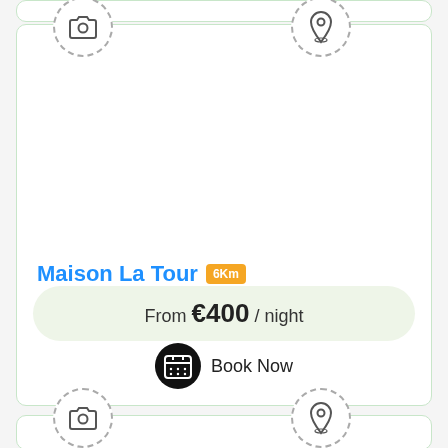[Figure (screenshot): Top card partial view - white card with green border, partially visible at top of page]
[Figure (screenshot): Main listing card for Maison La Tour with camera icon placeholder, location pin icon, property name badge, price bar showing From €400/night, and Book Now button with calendar icon]
Maison La Tour
6Km
From €400 / night
Book Now
[Figure (screenshot): Bottom card partial view - white card with green border, partially visible at bottom of page with camera and pin icons]